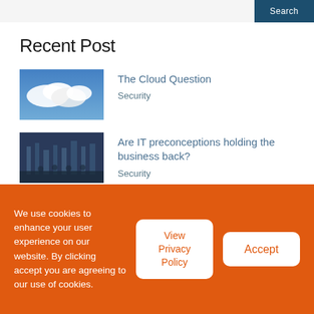Search
Recent Post
[Figure (photo): Thumbnail photo of blue sky with clouds]
The Cloud Question
Security
[Figure (photo): Thumbnail photo of an office/data center]
Are IT preconceptions holding the business back?
Security
[Figure (photo): Thumbnail photo of a city at night]
How secure is the Cloud?
Security
[Figure (photo): Partial thumbnail of next post]
The Six R's of Cloud Migration
We use cookies to enhance your user experience on our website. By clicking accept you are agreeing to our use of cookies.
View Privacy Policy
Accept